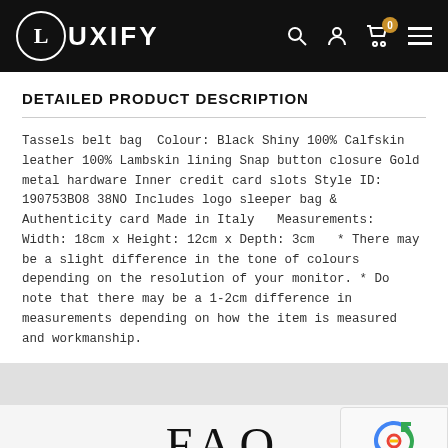LUXIFY
DETAILED PRODUCT DESCRIPTION
Tassels belt bag  Colour: Black Shiny 100% Calfskin leather 100% Lambskin lining Snap button closure Gold metal hardware Inner credit card slots Style ID: 190753BO8 38NO Includes logo sleeper bag & Authenticity card Made in Italy   Measurements:   Width: 18cm x Height: 12cm x Depth: 3cm   * There may be a slight difference in the tone of colours depending on the resolution of your monitor. * Do note that there may be a 1-2cm difference in measurements depending on how the item is measured and workmanship.
FAQ